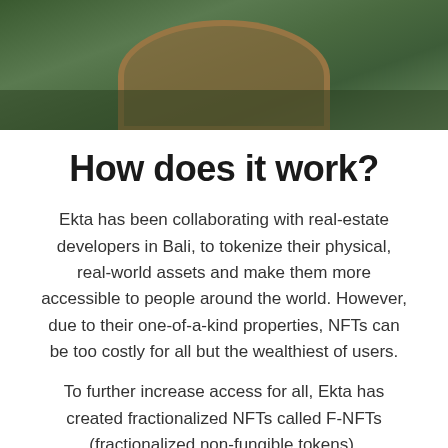[Figure (photo): Aerial view of a modern circular treehouse or villa structure surrounded by lush green tropical vegetation in Bali]
How does it work?
Ekta has been collaborating with real-estate developers in Bali, to tokenize their physical, real-world assets and make them more accessible to people around the world. However, due to their one-of-a-kind properties, NFTs can be too costly for all but the wealthiest of users.
To further increase access for all, Ekta has created fractionalized NFTs called F-NFTs (fractionalized non-fungible tokens).
Unlike traditional NFTs that are singular in nature